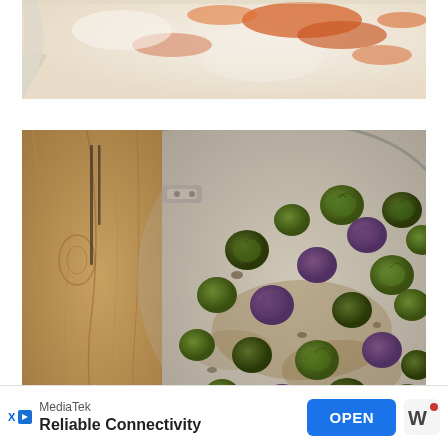[Figure (photo): Close-up photo of a baked cheesy casserole dish, showing melted white and orange cheese on top, slightly browned, in a white baking dish.]
[Figure (photo): Overhead photo of roasted Brussels sprouts in a stainless steel pan with handle, placed next to a wooden cutting board with a fork. Brussels sprouts are caramelized and some have purple-red outer leaves.]
MediaTek
Reliable Connectivity
OPEN